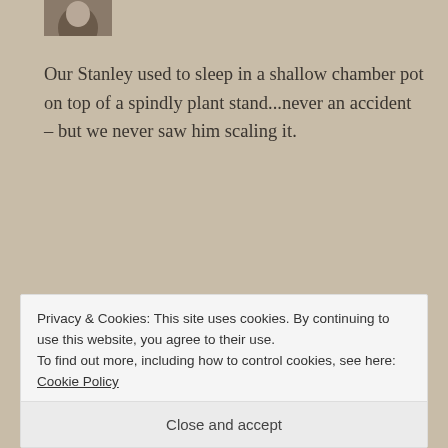[Figure (photo): Partial avatar/profile photo cropped at top of page]
Our Stanley used to sleep in a shallow chamber pot on top of a spindly plant stand...never an accident – but we never saw him scaling it.
Reply
[Figure (photo): Avatar image for commenter Kateshrewsday — stylized illustration]
KATESHREWSDAY
JUNE 30, 2014 AT 5:50 PM
Privacy & Cookies: This site uses cookies. By continuing to use this website, you agree to their use.
To find out more, including how to control cookies, see here: Cookie Policy
Close and accept